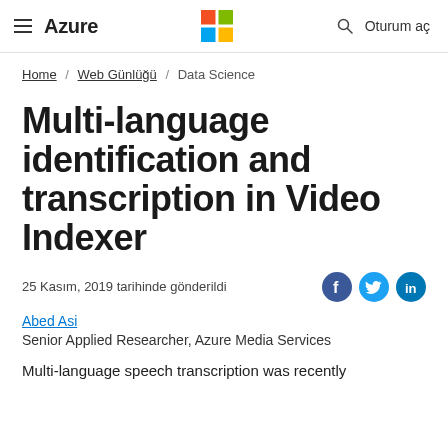Azure | Microsoft logo | Oturum aç
Home / Web Günlüğü / Data Science
Multi-language identification and transcription in Video Indexer
25 Kasım, 2019 tarihinde gönderildi
Abed Asi
Senior Applied Researcher, Azure Media Services
Multi-language speech transcription was recently